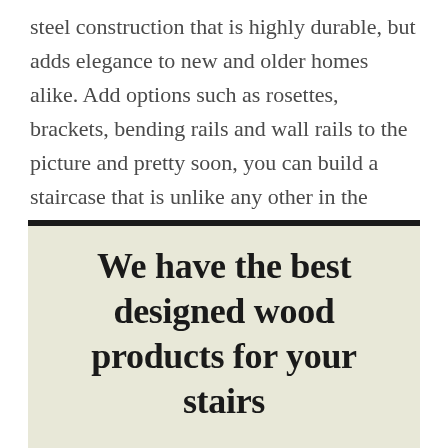steel construction that is highly durable, but adds elegance to new and older homes alike. Add options such as rosettes, brackets, bending rails and wall rails to the picture and pretty soon, you can build a staircase that is unlike any other in the neighborhood.
We have the best designed wood products for your stairs